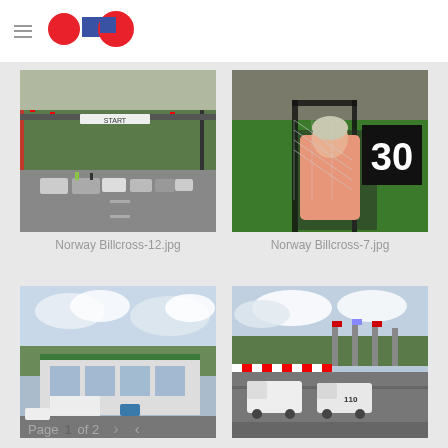[Figure (photo): Racing cars lined up at a start line on a drag strip with a START banner overhead, trees in background, Norway Billcross event]
Norway Billcross-12.jpg
[Figure (photo): A smiling woman in a pink racing suit sitting in a red roll-cage race car numbered 30, Norway Billcross event]
Norway Billcross-7.jpg
[Figure (photo): A green-roofed building/pit structure with cloudy sky, at what appears to be a racing venue]
[Figure (photo): White pickup trucks on a racing track with pit lane structures and flags in background, Norway Billcross event]
Page 1 of 2